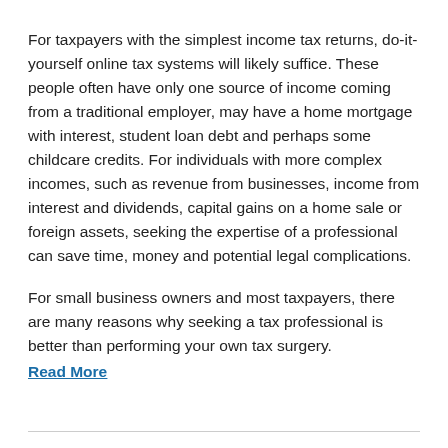For taxpayers with the simplest income tax returns, do-it-yourself online tax systems will likely suffice. These people often have only one source of income coming from a traditional employer, may have a home mortgage with interest, student loan debt and perhaps some childcare credits. For individuals with more complex incomes, such as revenue from businesses, income from interest and dividends, capital gains on a home sale or foreign assets, seeking the expertise of a professional can save time, money and potential legal complications.
For small business owners and most taxpayers, there are many reasons why seeking a tax professional is better than performing your own tax surgery. Read More